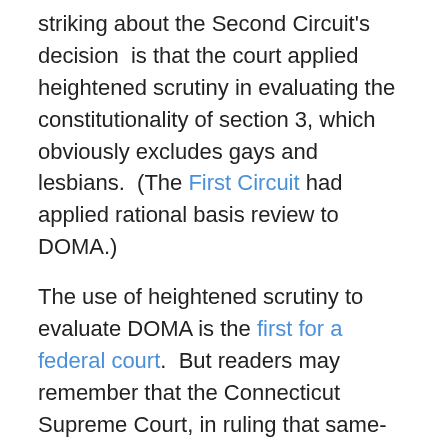striking about the Second Circuit's decision is that the court applied heightened scrutiny in evaluating the constitutionality of section 3, which obviously excludes gays and lesbians. (The First Circuit had applied rational basis review to DOMA.)
The use of heightened scrutiny to evaluate DOMA is the first for a federal court. But readers may remember that the Connecticut Supreme Court, in ruling that same-sex marriage was constitutional in Connecticut, applied heightened scrutiny as well. Indeed, the bulk of the opinion in Kerrigan v. Comm'r of Public Health was dedicated to justifying the Supreme Court's decision to apply intermediate scrutiny to laws that discriminate based on sexual orientation.
The United States Supreme Court will likely decide next